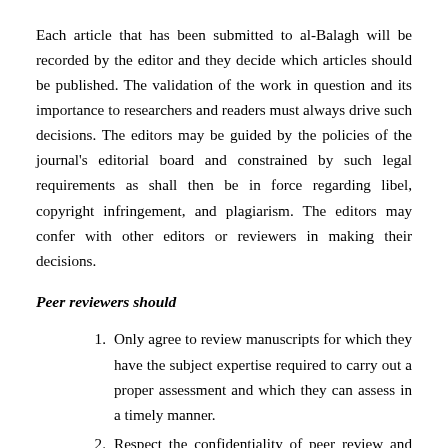Each article that has been submitted to al-Balagh will be recorded by the editor and they decide which articles should be published. The validation of the work in question and its importance to researchers and readers must always drive such decisions. The editors may be guided by the policies of the journal's editorial board and constrained by such legal requirements as shall then be in force regarding libel, copyright infringement, and plagiarism. The editors may confer with other editors or reviewers in making their decisions.
Peer reviewers should
Only agree to review manuscripts for which they have the subject expertise required to carry out a proper assessment and which they can assess in a timely manner.
Respect the confidentiality of peer review and not reveal any details of a manuscript or its review